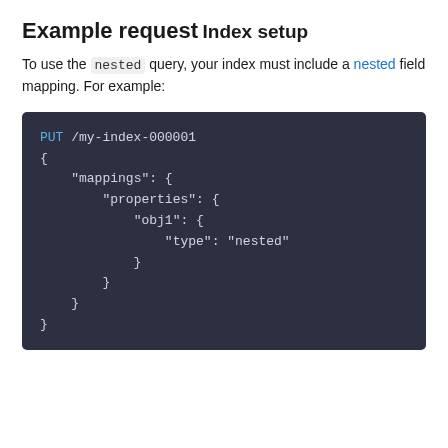Example request
Index setup
To use the nested query, your index must include a nested field mapping. For example:
[Figure (screenshot): Code block on dark background showing a PUT /my-index-000001 request with JSON body containing mappings, properties, obj1 with type nested]